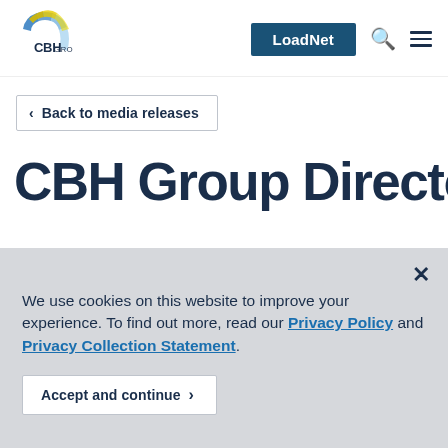[Figure (logo): CBH Group logo with blue/yellow fan graphic and text 'CBH GROUP']
LoadNet
< Back to media releases
CBH Group Director
We use cookies on this website to improve your experience. To find out more, read our Privacy Policy and Privacy Collection Statement.
Accept and continue >